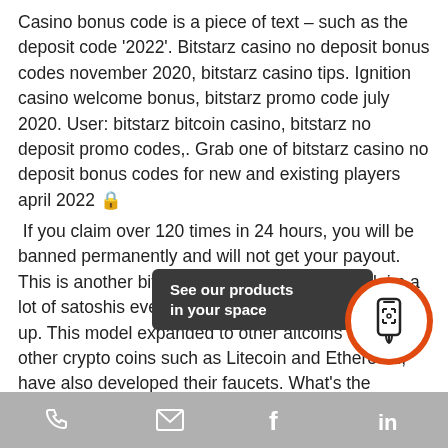Casino bonus code is a piece of text – such as the deposit code '2022'. Bitstarz casino no deposit bonus codes november 2020, bitstarz casino tips. Ignition casino welcome bonus, bitstarz promo code july 2020. User: bitstarz bitcoin casino, bitstarz no deposit promo codes,. Grab one of bitstarz casino no deposit bonus codes for new and existing players april 2022 🔒 If you claim over 120 times in 24 hours, you will be banned permanently and will not get your payout. This is another bitcoin faucet where you can claim a lot of satoshis every 30 minutes, bitstarz casino sign up. This model expanded to other altcoins and today, other crypto coins such as Litecoin and Ethereum, have also developed their faucets. What's the difference between crypto faucets and a...
[Figure (infographic): Dark tooltip bubble reading 'See our products in your space' and an AR/phone button icon in an orange circle, overlaid on the bottom of the page content]
Phone | Email | Facebook | LinkedIn